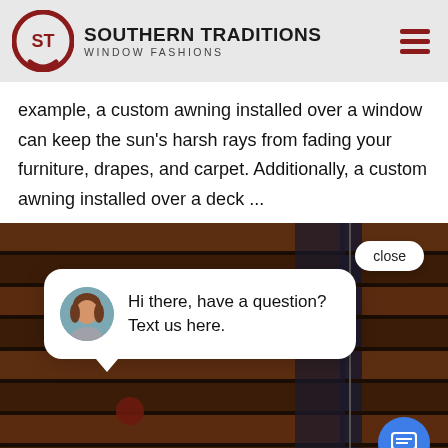[Figure (logo): Southern Traditions Window Fashions logo with circular ST emblem in dark red]
example, a custom awning installed over a window can keep the sun's harsh rays from fading your furniture, drapes, and carpet. Additionally, a custom awning installed over a deck ...
[Figure (screenshot): Wooden window blinds background image with a chat widget popup saying 'Hi there, have a question? Text us here.' with a close button and chat icon]